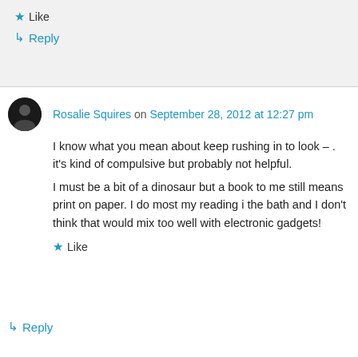★ Like
↳ Reply
Rosalie Squires on September 28, 2012 at 12:27 pm
I know what you mean about keep rushing in to look – . it's kind of compulsive but probably not helpful.
I must be a bit of a dinosaur but a book to me still means print on paper. I do most my reading i the bath and I don't think that would mix too well with electronic gadgets!
★ Like
↳ Reply